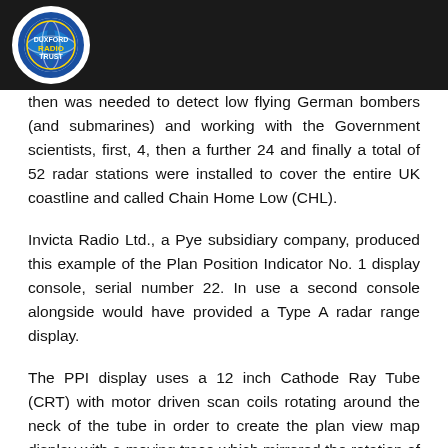[Figure (logo): Duxford Radio Trust circular logo with colourful design on dark header bar]
then was needed to detect low flying German bombers (and submarines) and working with the Government scientists, first, 4, then a further 24 and finally a total of 52 radar stations were installed to cover the entire UK coastline and called Chain Home Low (CHL).
Invicta Radio Ltd., a Pye subsidiary company, produced this example of the Plan Position Indicator No. 1 display console, serial number 22. In use a second console alongside would have provided a Type A radar range display.
The PPI display uses a 12 inch Cathode Ray Tube (CRT) with motor driven scan coils rotating around the neck of the tube in order to create the plan view map display with a moving trace which mirrored the rotation of the radar aerial.